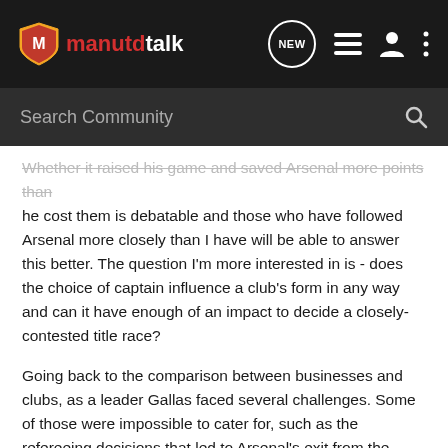manutdtalk — navigation bar with logo, NEW, list, person, and more icons
Search Community
Whether it raised his game and saved Arsenal more points than he cost them is debatable and those who have followed Arsenal more closely than I have will be able to answer this better. The question I'm more interested in is - does the choice of captain influence a club's form in any way and can it have enough of an impact to decide a closely-contested title race?
Going back to the comparison between businesses and clubs, as a leader Gallas faced several challenges. Some of those were impossible to cater for, such as the refereeing decisions that led to Arsenal's exit from the Champions League. Others required a strong team spirit, mental fortitude from the players and a leader / manager who could drag his players kicking and screaming through the bad times so that they could come out the other end fighting.